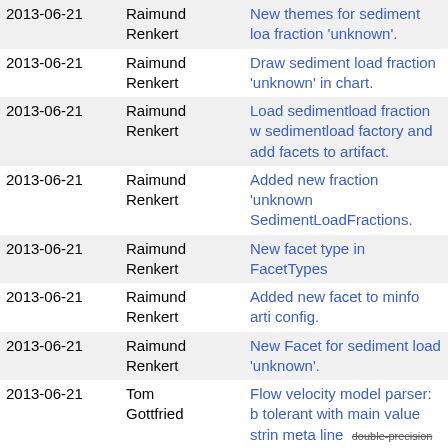| Date | Author | Message |
| --- | --- | --- |
| 2013-06-21 | Raimund Renkert | New themes for sediment load fraction 'unknown'. |
| 2013-06-21 | Raimund Renkert | Draw sediment load fraction 'unknown' in chart. |
| 2013-06-21 | Raimund Renkert | Load sedimentload fraction with sedimentload factory and add facets to artifact. |
| 2013-06-21 | Raimund Renkert | Added new fraction 'unknown' SedimentLoadFractions. |
| 2013-06-21 | Raimund Renkert | New facet type in FacetTypes |
| 2013-06-21 | Raimund Renkert | Added new facet to minfo artifact config. |
| 2013-06-21 | Raimund Renkert | New Facet for sediment load 'unknown'. |
| 2013-06-21 | Tom Gottfried | Flow velocity model parser: b tolerant with main value string meta line  double-precision |
| 2013-06-21 | Tom Gottfried | Flow velocity model parser: m and improved log output  doub |
| 2013-06-21 | Sascha L. Teichmann | Artifacts: First part of the official guessing. |
| 2013-06-21 | Andre Heinecke | Further fix encoding handling print service |
| 2013-06-21 | Felix Wolfsteller | SedimentLoadResult: Add ge load. |